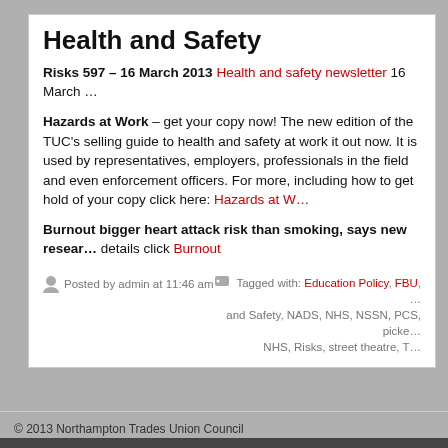Health and Safety
Risks 597 – 16 March 2013 Health and safety newsletter 16 March …
Hazards at Work – get your copy now! The new edition of the TUC's selling guide to health and safety at work it out now. It is used by representatives, employers, professionals in the field and even enforcement officers. For more, including how to get hold of your copy click here: Hazards at W…
Burnout bigger heart attack risk than smoking, says new resear… details click Burnout
Posted by admin at 11:46 am   Tagged with: Education Policy, FBU, … and Safety, NADS, NHS, NSSN, PCS, picke… NHS, Risks, street theatre, T…
© 2013 Northampton Trades Union Council